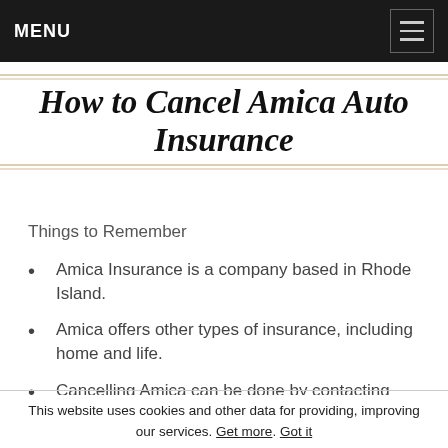MENU
How to Cancel Amica Auto Insurance
Things to Remember
Amica Insurance is a company based in Rhode Island.
Amica offers other types of insurance, including home and life.
Cancelling Amica can be done by contacting customer service.
This website uses cookies and other data for providing, improving our services. Get more. Got it